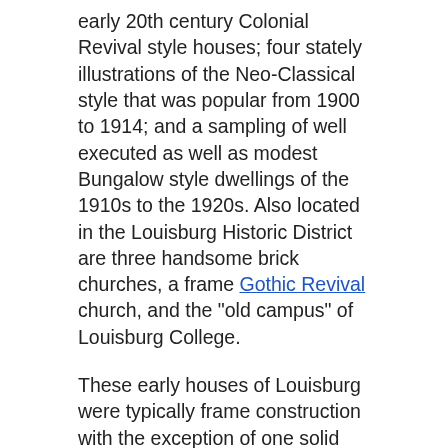early 20th century Colonial Revival style houses; four stately illustrations of the Neo-Classical style that was popular from 1900 to 1914; and a sampling of well executed as well as modest Bungalow style dwellings of the 1910s to the 1920s. Also located in the Louisburg Historic District are three handsome brick churches, a frame Gothic Revival church, and the "old campus" of Louisburg College.
These early houses of Louisburg were typically frame construction with the exception of one solid brick, two-story, single-pile house built around 1847. The styles represented illustrate popular architectural trends of a specific period with traditional interpretations and local variations characteristic to other North Carolina piedmont houses. The vast majority of architecture in Louisburg was the work of practical builders and not schooled architects. They used the models in builders and architects guides but translated them into locally